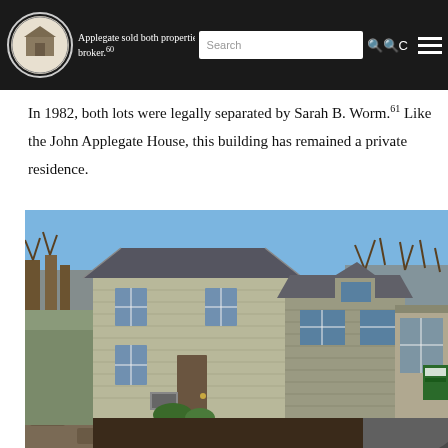Applegate sold both properties to Robert D. Thompsen, a local broker. [60]
In 1982, both lots were legally separated by Sarah B. Worm.[61] Like the John Applegate House, this building has remained a private residence.
[Figure (photo): Exterior photograph of a two-story residential house with gray/beige siding, brick chimney on the left side, multiple windows, attached lower structure to the right, blue sky background, stone wall in foreground, bare winter trees in background. A green sign partially visible on the right side reads 'DA'.]